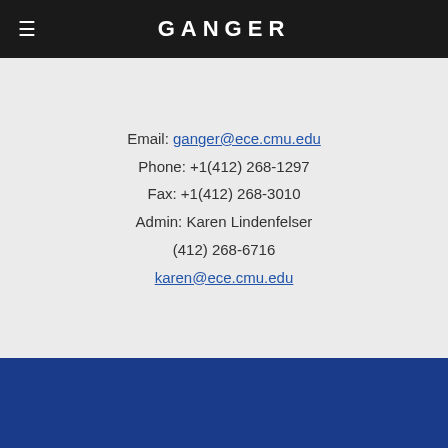GANGER
Email: ganger@ece.cmu.edu
Phone: +1(412) 268-1297
Fax: +1(412) 268-3010
Admin: Karen Lindenfelser
(412) 268-6716
karen@ece.cmu.edu